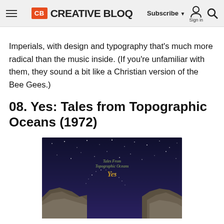CB CREATIVE BLOQ | Subscribe ▾ Sign in 🔍
Imperials, with design and typography that's much more radical than the music inside. (If you're unfamiliar with them, they sound a bit like a Christian version of the Bee Gees.)
08. Yes: Tales from Topographic Oceans (1972)
[Figure (photo): Screenshot of animated/game version of Yes: Tales from Topographic Oceans album art showing a night sky with stars and text overlaid, with rocky terrain at bottom left and right]